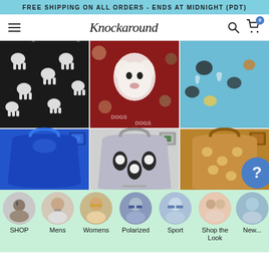FREE SHIPPING ON ALL ORDERS - ENDS AT MIDNIGHT (PDT)
[Figure (logo): Knockaround script logo in nav bar with hamburger menu, search icon, and cart icon with badge showing 0]
[Figure (photo): Grid of 6 reusable shopping bags: black with white elephants, red with dog faces, blue with animals/cats, blue decorative tote, gray penguin tote, brown cat-print tote with question mark circle overlay]
SHOP
Mens
Womens
Polarized
Sport
Shop the Look
New...